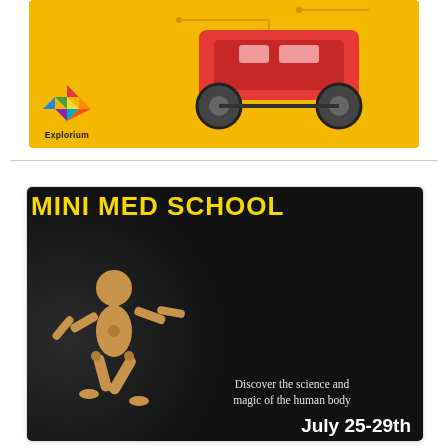[Figure (illustration): Explorium banner advertisement with yellow background showing a robot/vehicle toy and the Explorium logo with colorful gem icon and 'Explorium' text]
[Figure (photo): Mini Med School promotional image with black background, yellow bold text reading 'MINI MED SCHOOL', a wooden articulated figure mannequin in a dance pose, text 'Discover the science and magic of the human body', and 'July 25-29th']